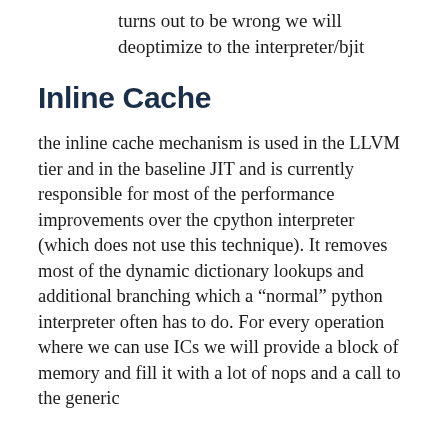turns out to be wrong we will deoptimize to the interpreter/bjit
Inline Cache
the inline cache mechanism is used in the LLVM tier and in the baseline JIT and is currently responsible for most of the performance improvements over the cpython interpreter (which does not use this technique). It removes most of the dynamic dictionary lookups and additional branching which a “normal” python interpreter often has to do. For every operation where we can use ICs we will provide a block of memory and fill it with a lot of nops and a call to the generic